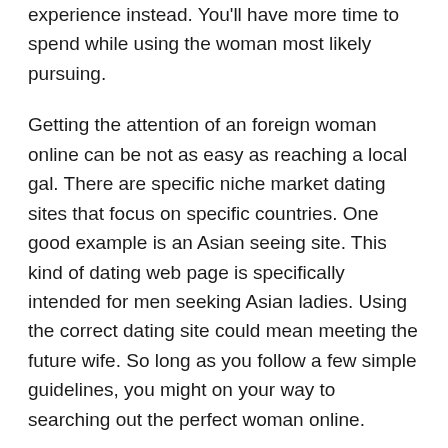experience instead. You'll have more time to spend while using the woman most likely pursuing.
Getting the attention of an foreign woman online can be not as easy as reaching a local gal. There are specific niche market dating sites that focus on specific countries. One good example is an Asian seeing site. This kind of dating web page is specifically intended for men seeking Asian ladies. Using the correct dating site could mean meeting the future wife. So long as you follow a few simple guidelines, you might on your way to searching out the perfect woman online.
Great way to get yourself a woman should be to hang out with her colleagues. While the club/bar scene is normally an easy way to meet up with women, several charging a hit or perhaps miss technique. Women of all ages generally gravitate to nightclubs and bars for the same factors: to enjoy the nightlife, to satisfy new good friends, or to fulfill potential loving partners. Likewise, ladies also